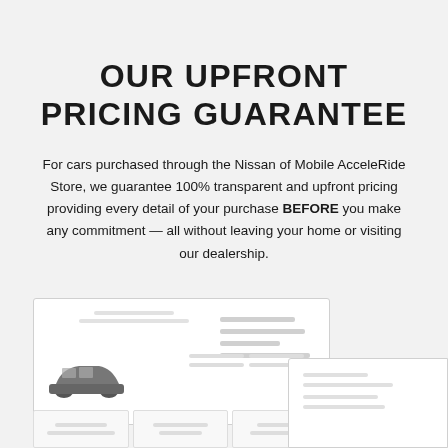OUR UPFRONT PRICING GUARANTEE
For cars purchased through the Nissan of Mobile AcceleRide Store, we guarantee 100% transparent and upfront pricing providing every detail of your purchase BEFORE you make any commitment — all without leaving your home or visiting our dealership.
[Figure (screenshot): Screenshot of a car listing page showing a Nissan SUV with pricing details, and partial screenshots of additional pages below]